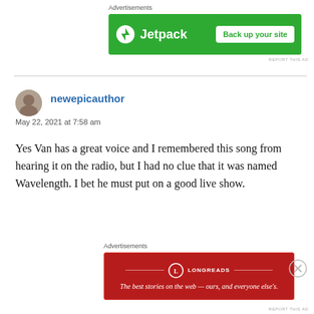Advertisements
[Figure (screenshot): Jetpack advertisement banner with green background: Jetpack logo on left, 'Back up your site' button on right]
REPORT THIS AD
newepicauthor
May 22, 2021 at 7:58 am
Yes Van has a great voice and I remembered this song from hearing it on the radio, but I had no clue that it was named Wavelength. I bet he must put on a good live show.
Advertisements
[Figure (screenshot): Longreads advertisement banner with dark red background: Longreads logo and tagline 'The best stories on the web — ours, and everyone else's.']
REPORT THIS AD